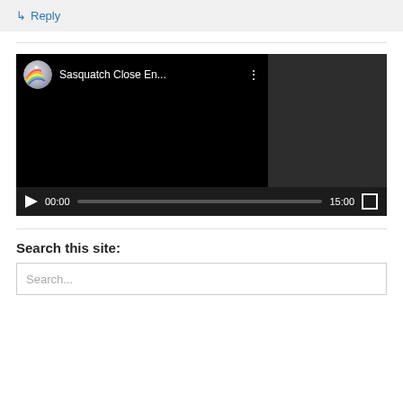↳ Reply
[Figure (screenshot): Embedded video player showing 'Sasquatch Close En...' with channel icon, more options button, black video area with sidebar panel, play controls showing 00:00 time and 15:00 duration, and fullscreen button]
Search this site:
Search...